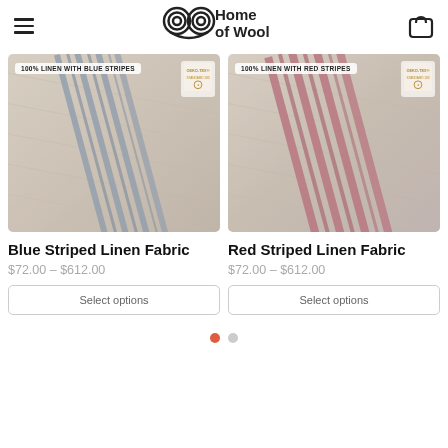Home of Wool
[Figure (photo): Close-up of a beige linen fabric with blue stripes. Badge reads '100% LINEN WITH BLUE STRIPES'. Oeko-Tex certification label in top right.]
Blue Striped Linen Fabric
$72.00 – $612.00
Select options
[Figure (photo): Close-up of a beige linen fabric with red stripes. Badge reads '100% LINEN WITH RED STRIPES'. Oeko-Tex certification label in top right.]
Red Striped Linen Fabric
$72.00 – $612.00
Select options